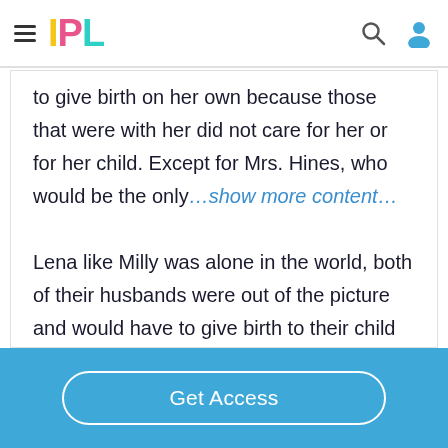IPL
to give birth on her own because those that were with her did not care for her or for her child. Except for Mrs. Hines, who would be the only…show more content…
Lena like Milly was alone in the world, both of their husbands were out of the picture and would have to give birth to their child alone.
Again Mrs. Hines would play a role in the
Get Access